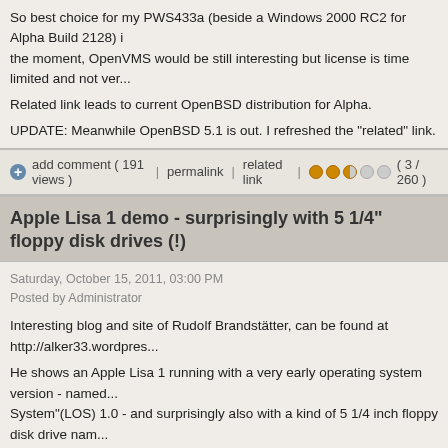So best choice for my PWS433a (beside a Windows 2000 RC2 for Alpha Build 2128) is at the moment, OpenVMS would be still interesting but license is time limited and not ver...
Related link leads to current OpenBSD distribution for Alpha.
UPDATE: Meanwhile OpenBSD 5.1 is out. I refreshed the "related" link.
add comment ( 191 views )  |  permalink  |  related link  |  ●●◑○○ ( 3 / 260 )
Apple Lisa 1 demo - surprisingly with 5 1/4" floppy disk drives (!)
Saturday, October 15, 2011, 03:00 PM
Posted by Administrator
Interesting blog and site of Rudolf Brandstätter, can be found at http://alker33.wordpres...
He shows an Apple Lisa 1 running with a very early operating system version - named... System"(LOS) 1.0 - and surprisingly also with a kind of 5 1/4 inch floppy disk drive nam... media".
I've seen more than one Apple Lisa in real, but never with such floppy drives.
So take a look at his blog entry now:
http://alker33.wordpress.com/2010/12/29 ... er-of-gui/
Here is a picture of it:
[Figure (photo): Partial view of an Apple Lisa computer, showing a pink/beige casing on the left and an olive/yellow-green component on the right, cropped at bottom of page]